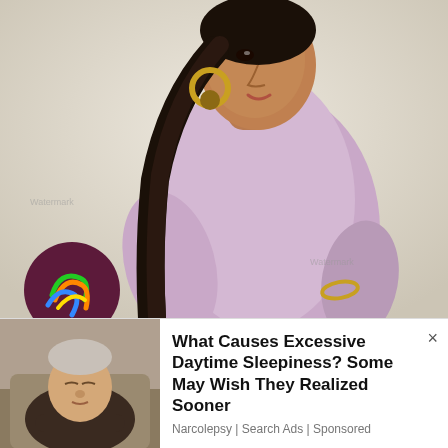[Figure (photo): A young woman with long black hair in a ponytail, wearing a light purple/lavender long-sleeve top and gold hoop earrings, photographed from the side/profile against a light beige wall.]
[Figure (photo): Advertisement image: an elderly man sleeping in a chair (left thumbnail), with ad text on the right reading 'What Causes Excessive Daytime Sleepiness? Some May Wish They Realized Sooner' by Narcolepsy | Search Ads | Sponsored.]